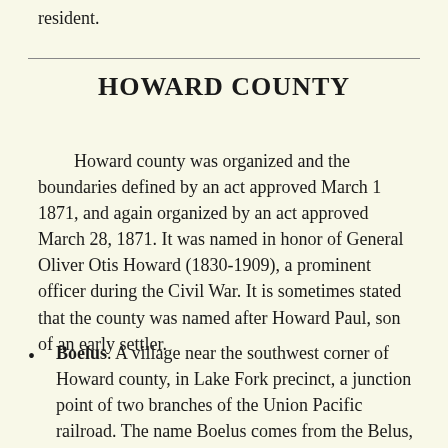resident.
HOWARD COUNTY
Howard county was organized and the boundaries defined by an act approved March 1 1871, and again organized by an act approved March 28, 1871. It was named in honor of General Oliver Otis Howard (1830-1909), a prominent officer during the Civil War. It is sometimes stated that the county was named after Howard Paul, son of an early settler.
Boelus. A village near the southwest corner of Howard county, in Lake Fork precinct, a junction point of two branches of the Union Pacific railroad. The name Boelus comes from the Belus, a small river of Palestine, described by Pliny as rising at the foot of Mt. Carmel and falling into the sea near Ptolemais (Acre), celebrated from the well known tradition that its fine sand led the Phoenicians to the invention of glass. The name Belus was also used by the Greeks for the national hero, and it refers to the Semitic...